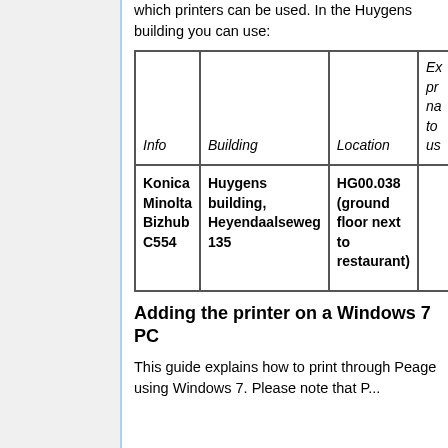which printers can be used. In the Huygens building you can use:
| Info | Building | Location | Ex pr na to us |
| --- | --- | --- | --- |
| Konica Minolta Bizhub C554 | Huygens building, Heyendaalseweg 135 | HG00.038 (ground floor next to restaurant) |  |
Adding the printer on a Windows 7 PC
This guide explains how to print through Peage using Windows 7. Please note that P...